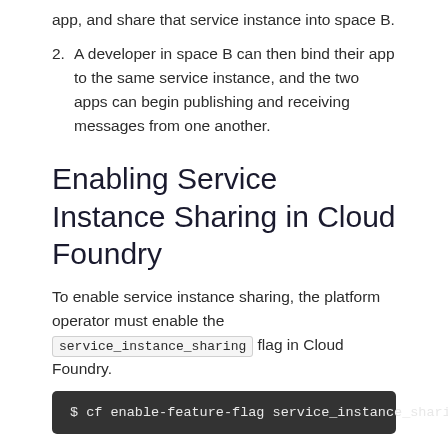app, and share that service instance into space B.
2. A developer in space B can then bind their app to the same service instance, and the two apps can begin publishing and receiving messages from one another.
Enabling Service Instance Sharing in Cloud Foundry
To enable service instance sharing, the platform operator must enable the service_instance_sharing flag in Cloud Foundry.
$ cf enable-feature-flag service_instance_sharing
Sharing a Service Instance